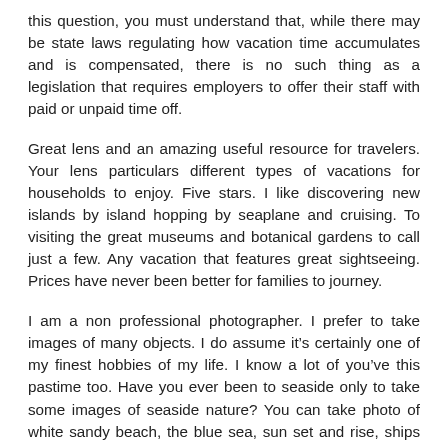this question, you must understand that, while there may be state laws regulating how vacation time accumulates and is compensated, there is no such thing as a legislation that requires employers to offer their staff with paid or unpaid time off.
Great lens and an amazing useful resource for travelers. Your lens particulars different types of vacations for households to enjoy. Five stars. I like discovering new islands by island hopping by seaplane and cruising. To visiting the great museums and botanical gardens to call just a few. Any vacation that features great sightseeing. Prices have never been better for families to journey.
I am a non professional photographer. I prefer to take images of many objects. I do assume it’s certainly one of my finest hobbies of my life. I know a lot of you’ve this pastime too. Have you ever been to seaside only to take some images of seaside nature? You can take photo of white sandy beach, the blue sea, sun set and rise, ships and of course your own picture. Don’t you assume it could a terrific thought by which you’ll get pleasure from